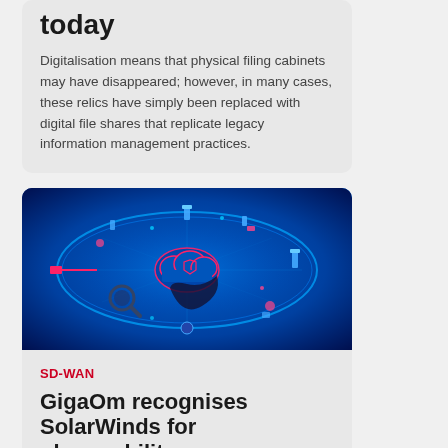today
Digitalisation means that physical filing cabinets may have disappeared; however, in many cases, these relics have simply been replaced with digital file shares that replicate legacy information management practices.
[Figure (illustration): Cybersecurity illustration showing a glowing blue oval/ellipse with a cloud icon in the center surrounded by various digital security icons, shields, and network elements on a dark blue background]
SD-WAN
GigaOm recognises SolarWinds for observability